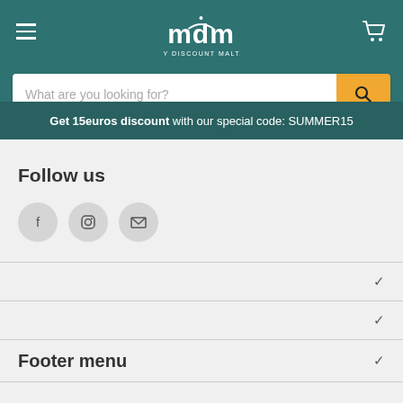[Figure (logo): MDM My Discount Malta logo in white on teal background]
What are you looking for?
Get 15euros discount with our special code: SUMMER15
Follow us
[Figure (illustration): Social media icons: Facebook, Instagram, Email]
Footer menu